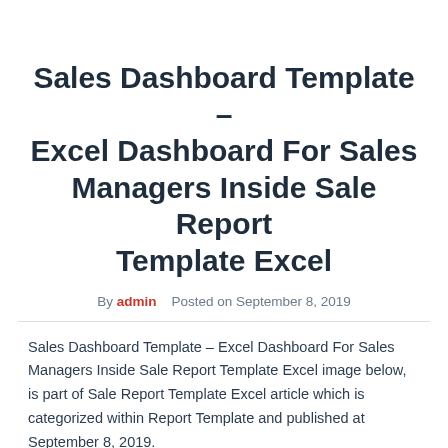Sales Dashboard Template – Excel Dashboard For Sales Managers Inside Sale Report Template Excel
By admin   Posted on September 8, 2019
Sales Dashboard Template – Excel Dashboard For Sales Managers Inside Sale Report Template Excel image below, is part of Sale Report Template Excel article which is categorized within Report Template and published at September 8, 2019.